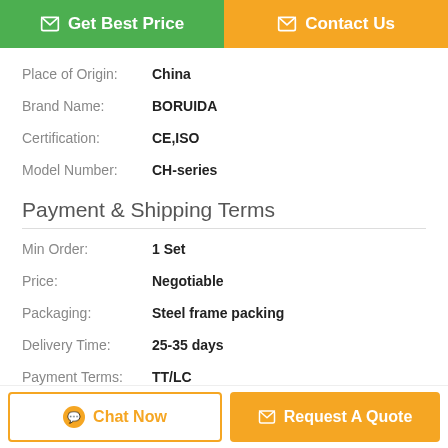Get Best Price
Contact Us
Place of Origin: China
Brand Name: BORUIDA
Certification: CE,ISO
Model Number: CH-series
Payment & Shipping Terms
Min Order: 1 Set
Price: Negotiable
Packaging: Steel frame packing
Delivery Time: 25-35 days
Payment Terms: TT/LC
Supply Ability: 50 Sets/month.
Description
Chat Now
Request A Quote